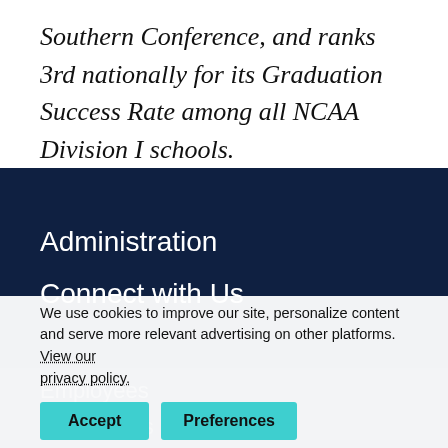Southern Conference, and ranks 3rd nationally for its Graduation Success Rate among all NCAA Division I schools.
Administration
Connect with Us
Employees
Quick Links
We use cookies to improve our site, personalize content and serve more relevant advertising on other platforms. View our privacy policy. Accept Preferences